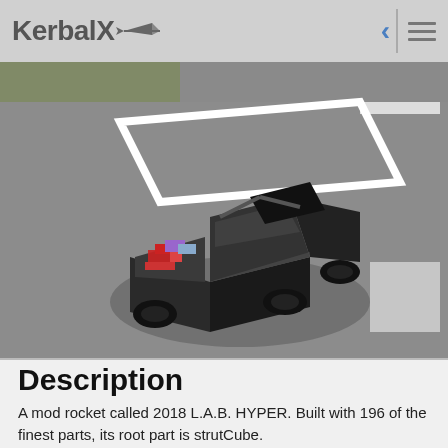KerbalX
[Figure (screenshot): KerbalSpace Program screenshot showing a black angular truck/rover vehicle on a grey concrete runway surface, viewed from above at an angle. The vehicle has visible components and colorful parts in its bed area. White runway markings are visible.]
Description
A mod rocket called 2018 L.A.B. HYPER. Built with 196 of the finest parts, its root part is strutCube.